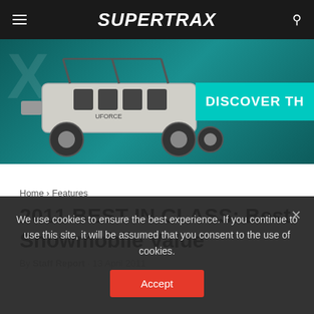SUPERTRAX
[Figure (photo): Advertisement banner showing a side-by-side UTV vehicle on a teal/dark teal background with the text 'DISCOVER TH' visible on the right side in a cyan box]
Home › Features
2011 BEST IN CLASS: Best Snowmobile Value
By Staff Report · 13 April 2011
We use cookies to ensure the best experience. If you continue to use this site, it will be assumed that you consent to the use of cookies.